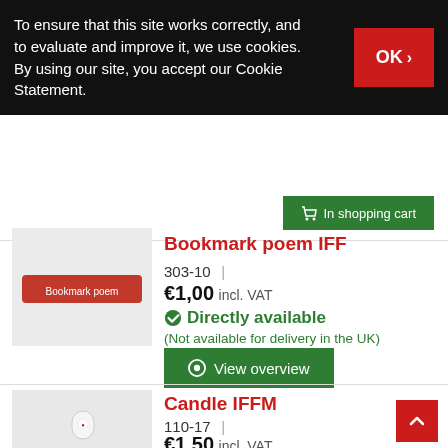To ensure that this site works correctly, and to evaluate and improve it, we use cookies. By using our site, you accept our Cookie Statement.
[Figure (screenshot): Cookie consent banner with OK button on dark background]
[Figure (photo): Green shopping cart button partially visible]
Bookmark poem IFF
303-10
€1,00 incl. VAT
Directly available
(Not available for delivery in the UK)
[Figure (photo): Red bookmark product photo on light grey background]
[Figure (screenshot): View overview green button]
Candle IFFM
110-17
€1,50 incl. VAT
[Figure (photo): White candle product photo on grey background]